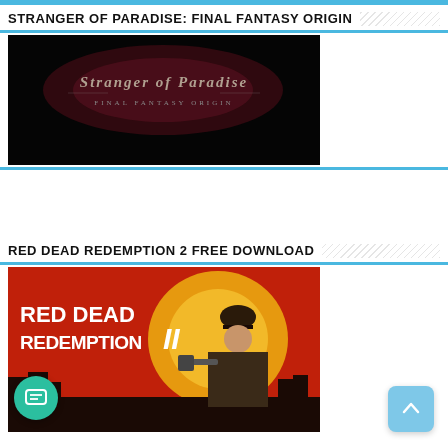STRANGER OF PARADISE: FINAL FANTASY ORIGIN
[Figure (screenshot): Dark promotional image for Stranger of Paradise: Final Fantasy Origin showing the ornate logo text on a black background with dark red smoky background]
RED DEAD REDEMPTION 2 FREE DOWNLOAD
[Figure (screenshot): Red Dead Redemption 2 cover art showing the bold white text 'RED DEAD REDEMPTION II' on a red background with a cowboy character pointing a revolver at the viewer against a sunset background]